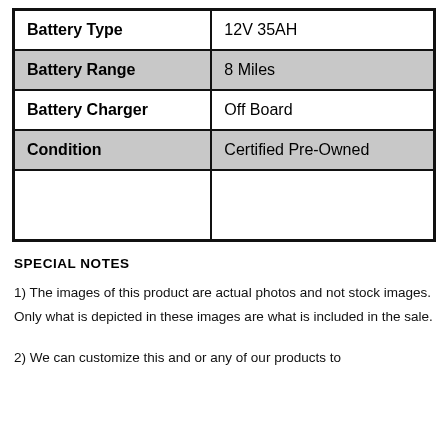|  |  |
| --- | --- |
| Battery Type | 12V 35AH |
| Battery Range | 8 Miles |
| Battery Charger | Off Board |
| Condition | Certified Pre-Owned |
|  |  |
SPECIAL NOTES
1) The images of this product are actual photos and not stock images. Only what is depicted in these images are what is included in the sale.
2) We can customize this and or any of our products to